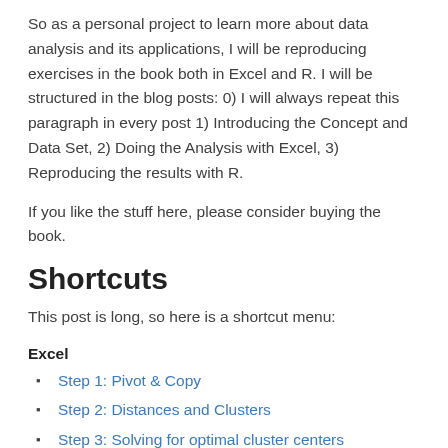So as a personal project to learn more about data analysis and its applications, I will be reproducing exercises in the book both in Excel and R. I will be structured in the blog posts: 0) I will always repeat this paragraph in every post 1) Introducing the Concept and Data Set, 2) Doing the Analysis with Excel, 3) Reproducing the results with R.
If you like the stuff here, please consider buying the book.
Shortcuts
This post is long, so here is a shortcut menu:
Excel
Step 1: Pivot & Copy
Step 2: Distances and Clusters
Step 3: Solving for optimal cluster centers
Step 4: Top deals by clusters
R